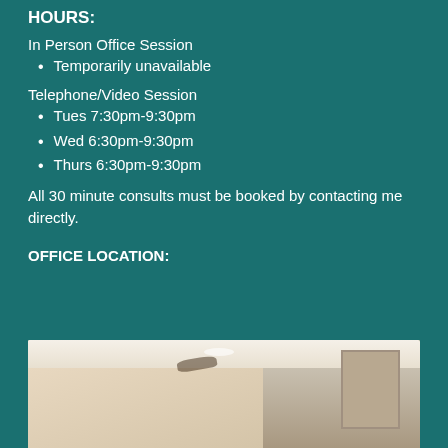HOURS:
In Person Office Session
Temporarily unavailable
Telephone/Video Session
Tues 7:30pm-9:30pm
Wed 6:30pm-9:30pm
Thurs 6:30pm-9:30pm
All 30 minute consults must be booked by contacting me directly.
OFFICE LOCATION:
[Figure (photo): Interior photo of an office or waiting room showing ceiling, walls, and architectural details]